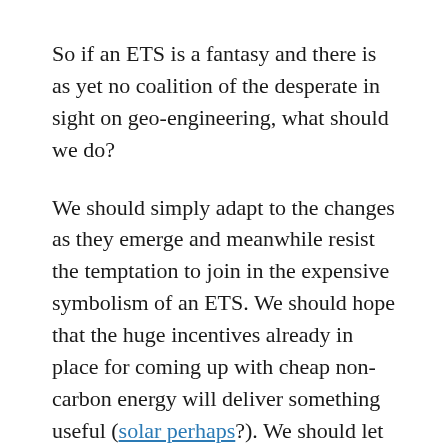So if an ETS is a fantasy and there is as yet no coalition of the desperate in sight on geo-engineering, what should we do?
We should simply adapt to the changes as they emerge and meanwhile resist the temptation to join in the expensive symbolism of an ETS. We should hope that the huge incentives already in place for coming up with cheap non-carbon energy will deliver something useful (solar perhaps?). We should let the individual government departments worry about how they should adapt to a changing climate, hence allowing the town planners to worry about ensuring there is enough shade and high